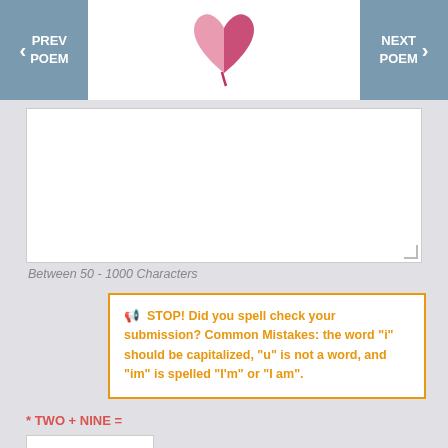PREV POEM | [logo] | NEXT POEM
[Figure (logo): Pink and red split heart logo]
Between 50 - 1000 Characters
STOP! Did you spell check your submission? Common Mistakes: the word "i" should be capitalized, "u" is not a word, and "im" is spelled "I'm" or "I am".
* TWO + NINE =
Help us stop spam